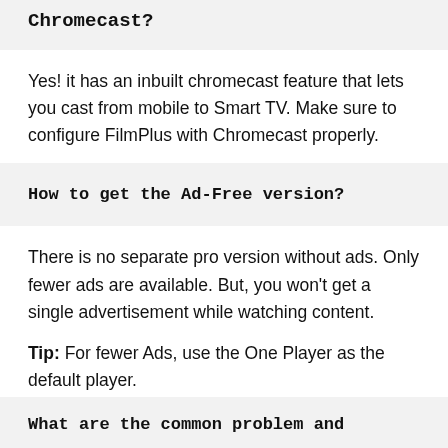Chromecast?
Yes! it has an inbuilt chromecast feature that lets you cast from mobile to Smart TV. Make sure to configure FilmPlus with Chromecast properly.
How to get the Ad-Free version?
There is no separate pro version without ads. Only fewer ads are available. But, you won't get a single advertisement while watching content.
Tip: For fewer Ads, use the One Player as the default player.
What are the common problem and